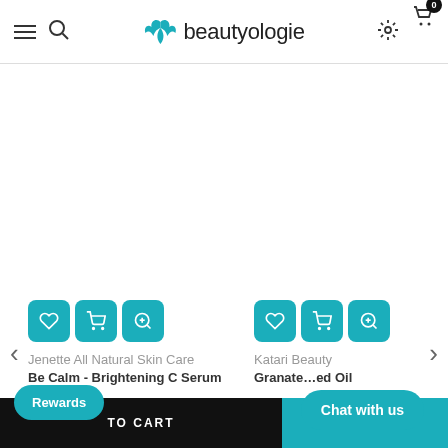beautyologie — navigation header with menu, search, settings, and cart icons
[Figure (screenshot): Product carousel showing two product cards: 'Jenette All Natural Skin Care - Be Calm - Brightening C Serum $128.00' and 'Katari Beauty - Granate ... ed Oil', each with wishlist, add-to-cart, and zoom action buttons. Left and right carousel navigation arrows visible.]
Jenette All Natural Skin Care
Be Calm - Brightening C Serum
$128.00
Katari Beauty
Granate ... ed Oil
ADD TO CART
Rewards
Chat with us